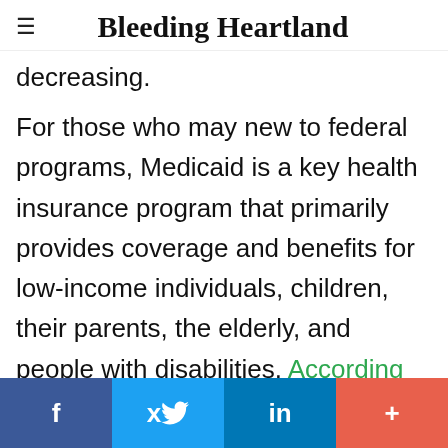Bleeding Heartland
decreasing.
For those who may new to federal programs, Medicaid is a key health insurance program that primarily provides coverage and benefits for low-income individuals, children, their parents, the elderly, and people with disabilities. According to the Kaiser Family Foundation, two in five children in the U.S. are covered by Medicaid, as well as three in five in